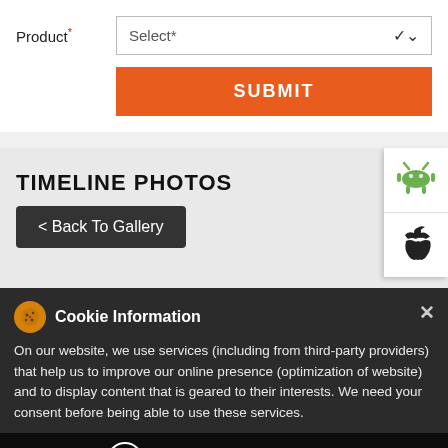Product*
Select*
SUBMIT
TIMELINE PHOTOS
< Back To Gallery
[Figure (screenshot): Android app icon (green robot)]
[Figure (screenshot): Apple iOS app icon (apple logo)]
Cookie Information
On our website, we use services (including from third-party providers) that help us to improve our online presence (optimization of website) and to display content that is geared to their interests. We need your consent before being able to use these services.
Book Uber to Sharekhan
T&C Apply